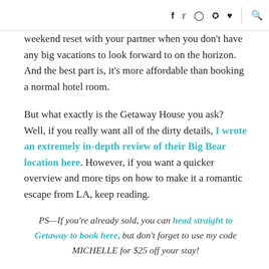f  y  Instagram  Pinterest  heart  search
weekend reset with your partner when you don't have any big vacations to look forward to on the horizon. And the best part is, it's more affordable than booking a normal hotel room.
But what exactly is the Getaway House you ask? Well, if you really want all of the dirty details, I wrote an extremely in-depth review of their Big Bear location here. However, if you want a quicker overview and more tips on how to make it a romantic escape from LA, keep reading.
PS—If you're already sold, you can head straight to Getaway to book here, but don't forget to use my code MICHELLE for $25 off your stay!